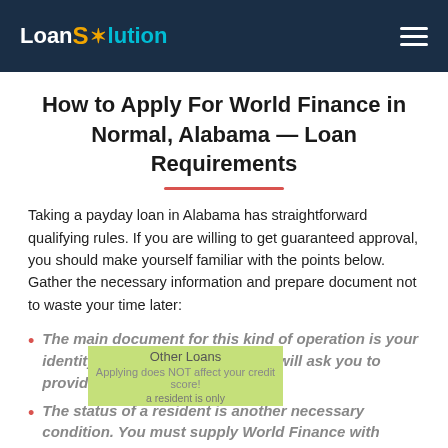LoanSolution
How to Apply For World Finance in Normal, Alabama — Loan Requirements
Taking a payday loan in Alabama has straightforward qualifying rules. If you are willing to get guaranteed approval, you should make yourself familiar with the points below. Gather the necessary information and prepare document not to waste your time later:
The main document for this kind of operation is your identity document. Every lender will ask you to provide it to identify you.
The status of a resident is another necessary condition. You must supply World Finance with